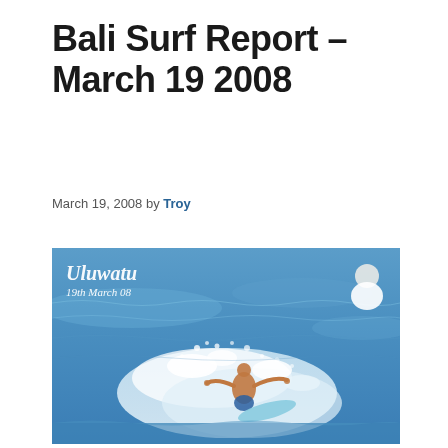Bali Surf Report – March 19 2008
March 19, 2008 by Troy
[Figure (photo): Surfer riding a wave at Uluwatu, Bali on 19th March 08. White water spray visible, surfer in center on surfboard. White-shirted person visible in background upper right. Text overlay reads 'Uluwatu' and '19th March 08' in white italic script on upper left.]